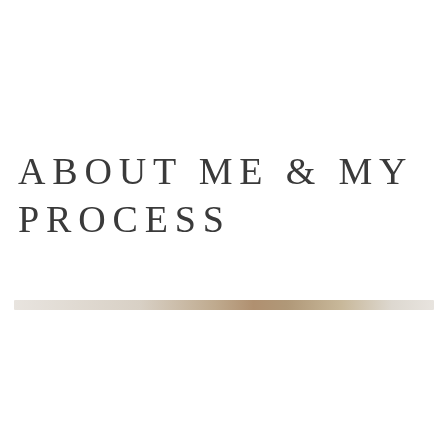ABOUT ME & MY PROCESS
[Figure (illustration): A thin horizontal decorative divider bar with a subtle gradient from light gray/beige on the left, transitioning to a warm tan/brown in the center, and fading back to light gray on the right.]